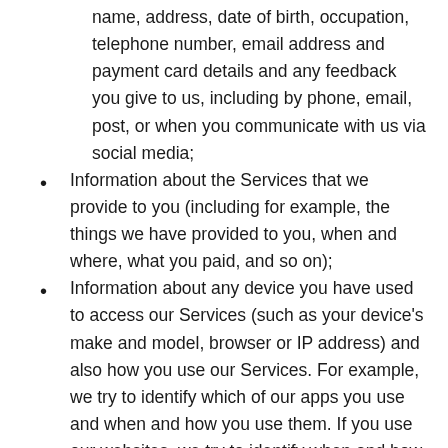name, address, date of birth, occupation, telephone number, email address and payment card details and any feedback you give to us, including by phone, email, post, or when you communicate with us via social media;
Information about the Services that we provide to you (including for example, the things we have provided to you, when and where, what you paid, and so on);
Information about any device you have used to access our Services (such as your device's make and model, browser or IP address) and also how you use our Services. For example, we try to identify which of our apps you use and when and how you use them. If you use our websites, we try to identify when and how you use those websites too;